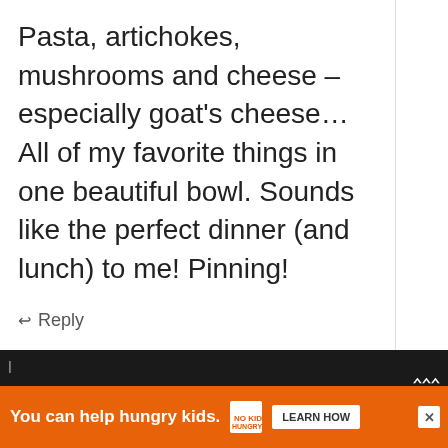Pasta, artichokes, mushrooms and cheese – especially goat's cheese… All of my favorite things in one beautiful bowl. Sounds like the perfect dinner (and lunch) to me! Pinning!
↩ Reply
Juliana
March 15, 2017 at 08:11 PM
Just recently I discovered orecchiette
WHAT'S NEXT → Easy Scones with...
You can help hungry kids. NOKID HUNGRY LEARN HOW